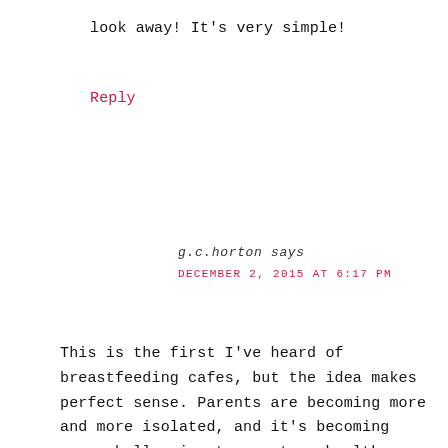look away! It's very simple!
Reply
g.c.horton says
DECEMBER 2, 2015 AT 6:17 PM
This is the first I've heard of breastfeeding cafes, but the idea makes perfect sense. Parents are becoming more and more isolated, and it's becoming more challenging to create a healthy